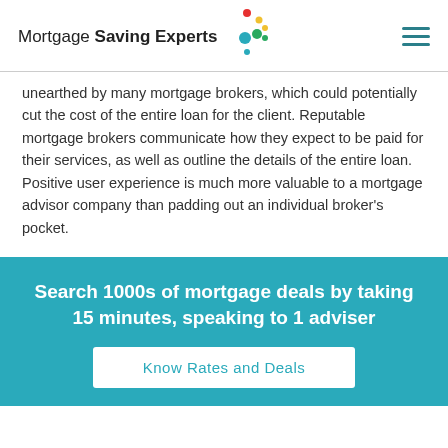[Figure (logo): Mortgage Saving Experts logo with colorful dots]
unearthed by many mortgage brokers, which could potentially cut the cost of the entire loan for the client. Reputable mortgage brokers communicate how they expect to be paid for their services, as well as outline the details of the entire loan. Positive user experience is much more valuable to a mortgage advisor company than padding out an individual broker's pocket.
Search 1000s of mortgage deals by taking 15 minutes, speaking to 1 adviser
Know Rates and Deals